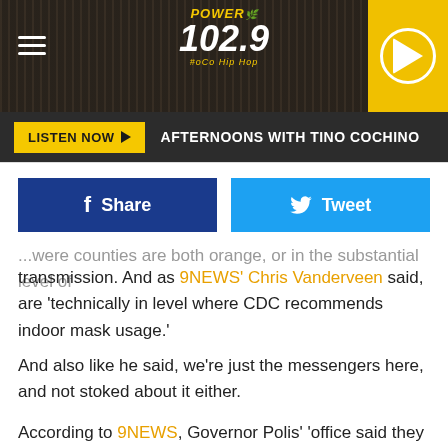[Figure (screenshot): Power 102.9 #oCo Hip Hop radio station logo with hamburger menu on left and play button on right against dark textured background]
LISTEN NOW ▶  AFTERNOONS WITH TINO COCHINO
[Figure (screenshot): Facebook Share and Twitter Tweet social sharing buttons]
...were counties are both orange, or in the substantial level of transmission. And as 9NEWS' Chris Vanderveen said, are 'technically in level where CDC recommends indoor mask usage.'
And also like he said, we're just the messengers here, and not stoked about it either.
According to 9NEWS, Governor Polis' 'office said they are reviewing the new information from the CDC.' Similarly, the news outlet reported that officials in Denver said that they are monitoring cases associated with the delta variant. But,